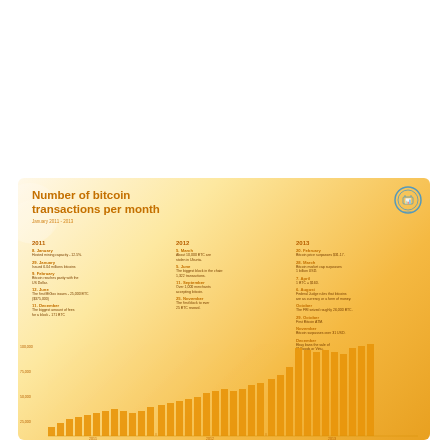[Figure (bar-chart): Number of bitcoin transactions per month]
2011
8 January - Hosted mining capacity - 12.5%.
29 January - Issued 6.04 millions bitcoins
9 February - Bitcoin reaches parity with the US Dollar.
12 June - The first MtGox issues - 25,000 BTC ($375,000)
11 December - The biggest amount of fees for a block - 171 BTC
2012
5 March - About 10,000 BTC are stolen in Ubuntu.
5 June - The biggest block in the chain: 1,322 transactions.
11 September - Over 1,000 merchants accepting bitcoin.
25 November - The first block to ever contain 25 BTC reward.
2013
20 February - Bitcoin price surpasses $31.17.
28 March - Bitcoin market cap surpasses 1 billion USD.
7 April - 1 BTC = $160.
6 August - Federal Judge rules that bitcoin are not a currency or a form of money.
October - The FBI seized roughly 26,000 BTC.
29 October - First Bitcoin ATM.
November - Bitcoin surpasses over 31 USD.
December - Ebay bans the sale of IT Coins or Virtu.